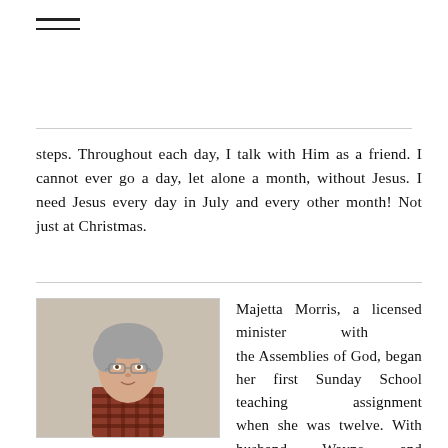≡
steps. Throughout each day, I talk with Him as a friend. I cannot ever go a day, let alone a month, without Jesus. I need Jesus every day in July and every other month! Not just at Christmas.
[Figure (photo): Portrait photo of an elderly woman with short gray hair and glasses, wearing a red and black plaid shirt, against a light beige/cream background.]
Majetta Morris, a licensed minister with the Assemblies of God, began her first Sunday School teaching assignment when she was twelve. With husband, Wayne, and daughters, Scarlett and Keena, she ministered throughout the southwest U.S. in Kids Krusades for ten years